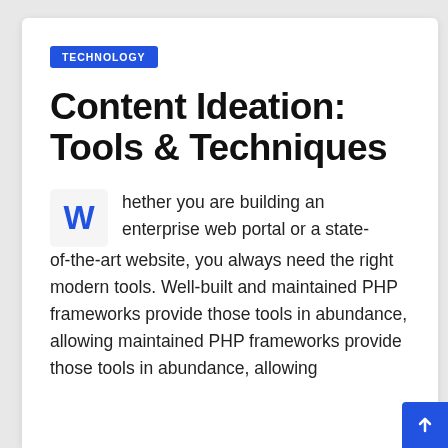TECHNOLOGY
Content Ideation: Tools & Techniques
Whether you are building an enterprise web portal or a state-of-the-art website, you always need the right modern tools. Well-built and maintained PHP frameworks provide those tools in abundance, allowing maintained PHP frameworks provide those tools in abundance, allowing